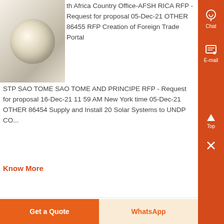[Figure (photo): Industrial roll of material, white/cream colored, partially visible in upper left of card]
th Africa Country Office-AFSH RICA RFP - Request for proposal 05-Dec-21 OTHER 86455 RFP Creation of Foreign Trade Portal STP SAO TOME SAO TOME AND PRINCIPE RFP - Request for proposal 16-Dec-21 11 59 AM New York time 05-Dec-21 OTHER 86454 Supply and Install 20 Solar Systems to UNDP CO...
Know More
[Figure (photo): Industrial equipment / machinery in an outdoor or warehouse setting, dark tones]
enders by Region Region Online information
nd New Zealand 1998 Melanesia sia 35 South Pacific Oceania 51
Get a Quote
WhatsApp